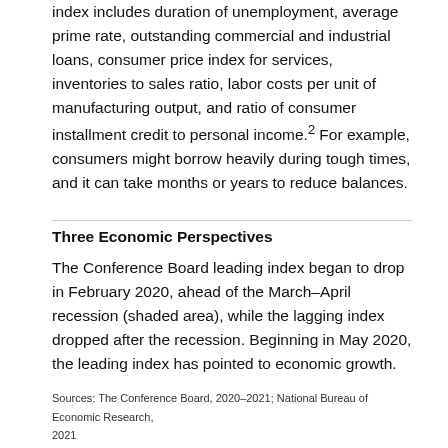index includes duration of unemployment, average prime rate, outstanding commercial and industrial loans, consumer price index for services, inventories to sales ratio, labor costs per unit of manufacturing output, and ratio of consumer installment credit to personal income.² For example, consumers might borrow heavily during tough times, and it can take months or years to reduce balances.
Three Economic Perspectives
The Conference Board leading index began to drop in February 2020, ahead of the March–April recession (shaded area), while the lagging index dropped after the recession. Beginning in May 2020, the leading index has pointed to economic growth.
Sources: The Conference Board, 2020–2021; National Bureau of Economic Research, 2021